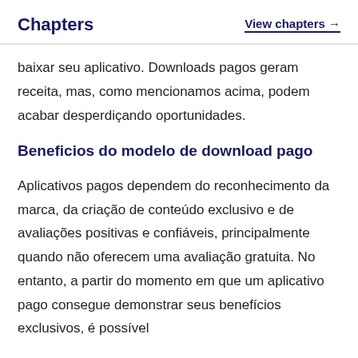Chapters | View chapters →
baixar seu aplicativo. Downloads pagos geram receita, mas, como mencionamos acima, podem acabar desperdiçando oportunidades.
Beneficios do modelo de download pago
Aplicativos pagos dependem do reconhecimento da marca, da criação de conteúdo exclusivo e de avaliações positivas e confiáveis, principalmente quando não oferecem uma avaliação gratuita. No entanto, a partir do momento em que um aplicativo pago consegue demonstrar seus benefícios exclusivos, é possível